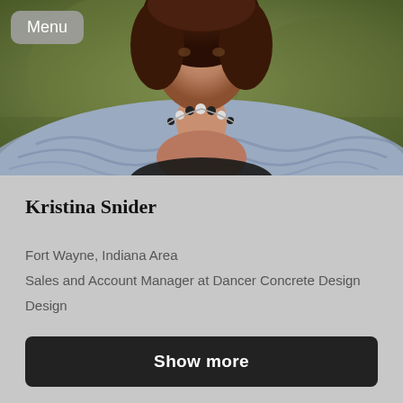[Figure (photo): Portrait photo of a woman with dark hair wearing a blue-grey ruffled wrap/shawl and a black and white beaded necklace, with a blurred green outdoor background. A 'Menu' button overlay appears in the top-left corner of the image.]
Kristina Snider
Fort Wayne, Indiana Area
Sales and Account Manager at Dancer Concrete Design
Design
Show more